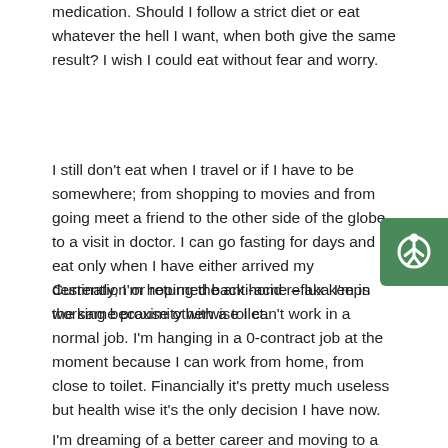medication. Should I follow a strict diet or eat whatever the hell I want, when both give the same result? I wish I could eat without fear and worry.
I still don't eat when I travel or if I have to be somewhere; from shopping to movies and from going meet a friend to the other side of the globe to a visit in doctor. I can go fasting for days and I eat only when I have either arrived my destination or returned back home – aka I'm in the same proximity with a toilet.
Currently, I'm hoping the anti-acid reflux keeps working because otherwise I can't work in a normal job. I'm hanging in a 0-contract job at the moment because I can work from home, from close to toilet. Financially it's pretty much useless but health wise it's the only decision I have now.
I'm dreaming of a better career and moving to a new